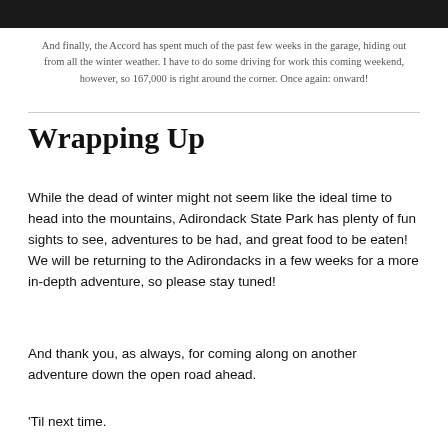[Figure (photo): Dark image bar at top of page, partially cropped]
And finally, the Accord has spent much of the past few weeks in the garage, hiding out from all the winter weather. I have to do some driving for work this coming weekend, however, so 167,000 is right around the corner. Once again: onward!
Wrapping Up
While the dead of winter might not seem like the ideal time to head into the mountains, Adirondack State Park has plenty of fun sights to see, adventures to be had, and great food to be eaten! We will be returning to the Adirondacks in a few weeks for a more in-depth adventure, so please stay tuned!
And thank you, as always, for coming along on another adventure down the open road ahead.
‘Til next time.